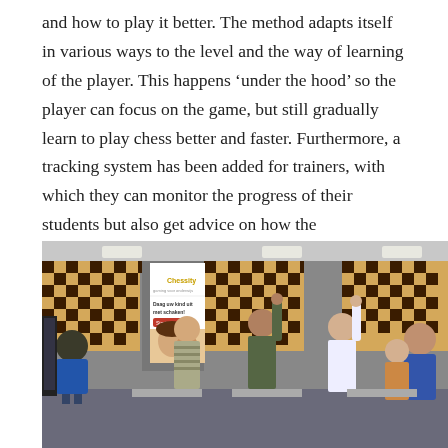and how to play it better. The method adapts itself in various ways to the level and the way of learning of the player. This happens 'under the hood' so the player can focus on the game, but still gradually learn to play chess better and faster. Furthermore, a tracking system has been added for trainers, with which they can monitor the progress of their students but also get advice on how the performance of individual students can be improved.
[Figure (photo): Children standing in front of large chess boards mounted on a wall in a classroom setting. A Chessity banner is visible with the text 'Daag uw kind uit met schaken!' and a Start nu button.]